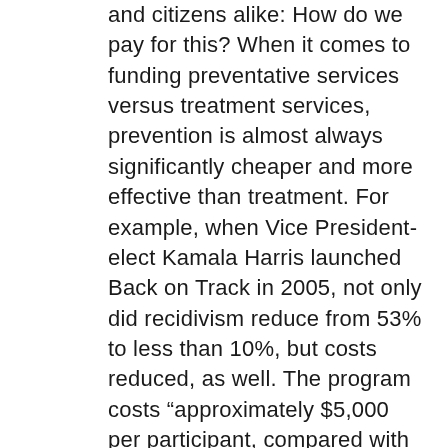and citizens alike: How do we pay for this? When it comes to funding preventative services versus treatment services, prevention is almost always significantly cheaper and more effective than treatment. For example, when Vice President-elect Kamala Harris launched Back on Track in 2005, not only did recidivism reduce from 53% to less than 10%, but costs reduced, as well. The program costs “approximately $5,000 per participant, compared with $10,000 to adjudicate a case and nearly $50,000 per year to house a low-level offender in prison or jail.” See Jacquelyn L. Rivers & Lenore Anderson, Back on Track: A Problem-Solving Reentry Court,